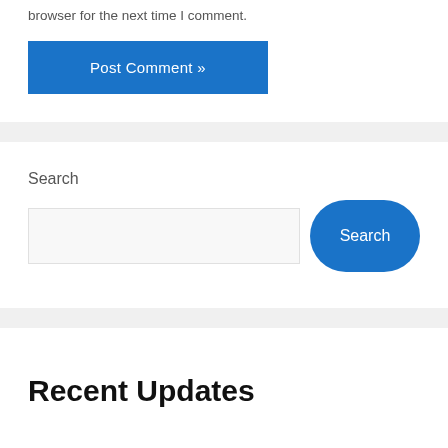browser for the next time I comment.
Post Comment »
Search
Search
Recent Updates